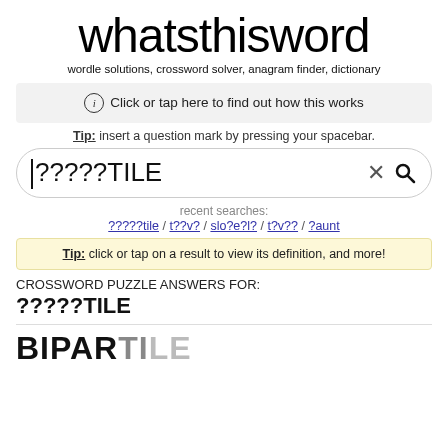whatsthisword
wordle solutions, crossword solver, anagram finder, dictionary
Click or tap here to find out how this works
Tip: insert a question mark by pressing your spacebar.
?????TILE
recent searches: ?????tile / t??v? / slo?e?l? / t?v?? / ?aunt
Tip: click or tap on a result to view its definition, and more!
CROSSWORD PUZZLE ANSWERS FOR:
?????TILE
BIPARTILE